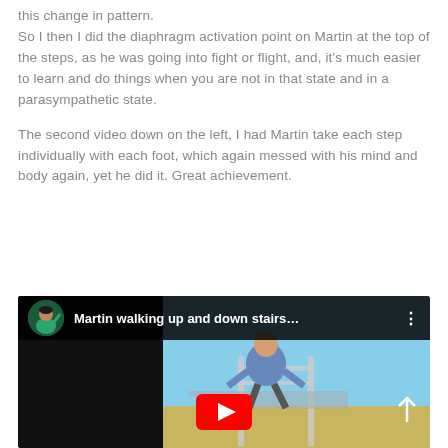this change in pattern.
So I then I did the diaphragm activation point on Martin at the top of the steps, as he was going into fight or flight, and, it's much easier to learn and do things when you are not in that state and in a parasympathetic state.
The second video down on the left, I had Martin take each step individually with each foot, which again messed with his mind and body again, yet he did it. Great achievement.
[Figure (screenshot): YouTube video thumbnail showing 'Martin walking up and down stairs...' with a person walking up outdoor stairs with handrails, viewed from behind. Video player interface with play button visible.]